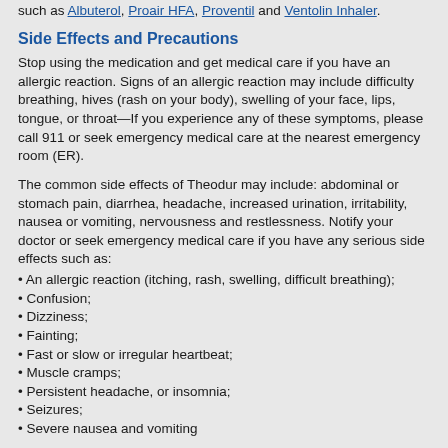such as Albuterol, Proair HFA, Proventil and Ventolin Inhaler.
Side Effects and Precautions
Stop using the medication and get medical care if you have an allergic reaction. Signs of an allergic reaction may include difficulty breathing, hives (rash on your body), swelling of your face, lips, tongue, or throat—If you experience any of these symptoms, please call 911 or seek emergency medical care at the nearest emergency room (ER).
The common side effects of Theodur may include: abdominal or stomach pain, diarrhea, headache, increased urination, irritability, nausea or vomiting, nervousness and restlessness. Notify your doctor or seek emergency medical care if you have any serious side effects such as:
• An allergic reaction (itching, rash, swelling, difficult breathing);
• Confusion;
• Dizziness;
• Fainting;
• Fast or slow or irregular heartbeat;
• Muscle cramps;
• Persistent headache, or insomnia;
• Seizures;
• Severe nausea and vomiting
The above information is a summary and may not contain all information. If you still have questions about side effects, you should talk to your doctor or pharmacist so they can address all your